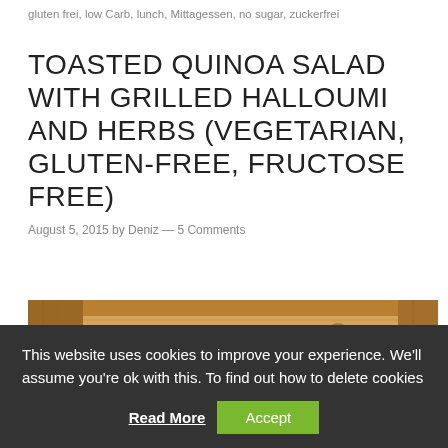gluten frei, low Carb, lunch, Mittagessen, no sugar, zuckerfrei
TOASTED QUINOA SALAD WITH GRILLED HALLOUMI AND HERBS (VEGETARIAN, GLUTEN-FREE, FRUCTOSE FREE)
August 5, 2015 by Deniz — 5 Comments
[Figure (photo): Close-up photo of toasted quinoa salad with herbs in a wooden tray, light golden wood background]
This website uses cookies to improve your experience. We'll assume you're ok with this. To find out how to delete cookies
Read More   Accept